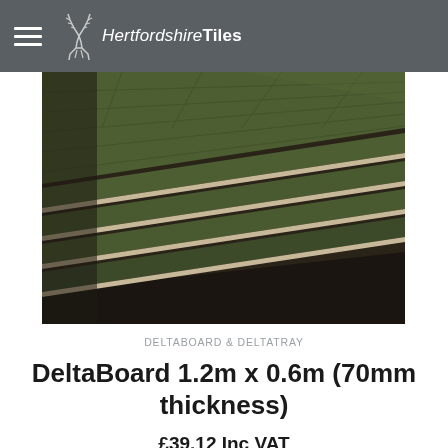HertfordshireTiles
[Figure (photo): Stack of green DeltaBoard insulation panels shown at angle, revealing olive-green textured top surface and beige/cream edge profile, multiple boards stacked diagonally]
DELTABOARD & DELTATRAY
DeltaBoard 1.2m x 0.6m (70mm thickness)
£39.12 Inc VAT